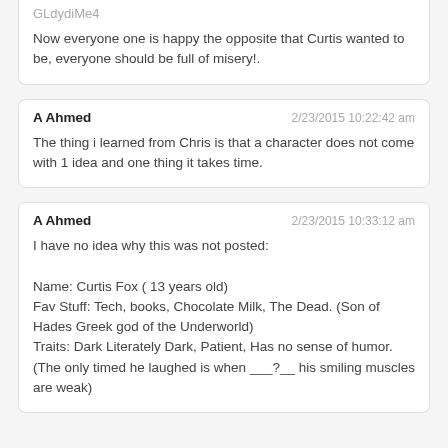GLdydiMe4
Now everyone one is happy the opposite that Curtis wanted to be, everyone should be full of misery!.
A Ahmed
2/23/2015 10:22:42 am
The thing i learned from Chris is that a character does not come with 1 idea and one thing it takes time.
A Ahmed
2/23/2015 10:33:12 am
I have no idea why this was not posted:

Name: Curtis Fox ( 13 years old)
Fav Stuff: Tech, books, Chocolate Milk, The Dead. (Son of Hades Greek god of the Underworld)
Traits: Dark Literately Dark, Patient, Has no sense of humor.(The only timed he laughed is when ___?__ his smiling muscles are weak)